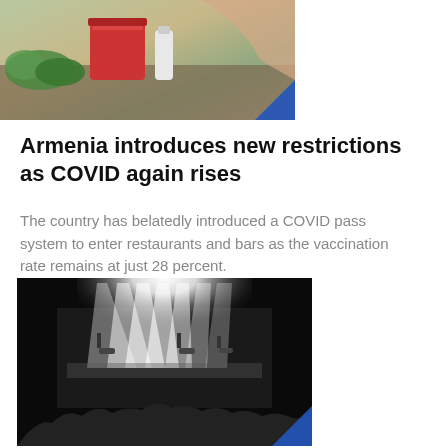[Figure (photo): Top portion of a food market scene with colorful items including a red cooler, vegetables, and bottles on a table with a person's arm visible]
Armenia introduces new restrictions as COVID again rises
The country has belatedly introduced a COVID pass system to enter restaurants and bars as the vaccination rate remains at just 28 percent.
Ani Mejlumyan Jan 27, 2022
[Figure (photo): Black and white photo of a concert venue with bright stage lights shining down on a crowd of people]